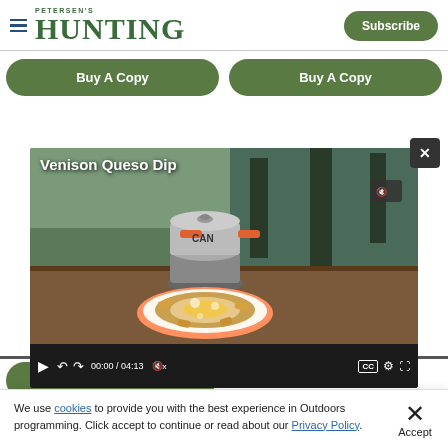Petersen's Hunting — Subscribe
Buy A Copy
Buy A Copy
[Figure (screenshot): Video player showing 'Venison Queso Dip' — a camp cooking scene with a pot on a camp stove and a plate of chips with queso dip. Video controls show 00:00 / 04:13 with CC, settings, and fullscreen buttons.]
Buy A Copy
We use cookies to provide you with the best experience in Outdoors programming. Click accept to continue or read about our Privacy Policy.